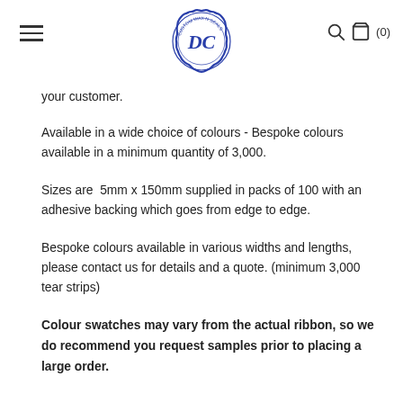Custom Wax N Seals logo, hamburger menu, search and cart icons
your customer.
Available in a wide choice of colours - Bespoke colours available in a minimum quantity of 3,000.
Sizes are  5mm x 150mm supplied in packs of 100 with an adhesive backing which goes from edge to edge.
Bespoke colours available in various widths and lengths, please contact us for details and a quote. (minimum 3,000 tear strips)
Colour swatches may vary from the actual ribbon, so we do recommend you request samples prior to placing a large order.